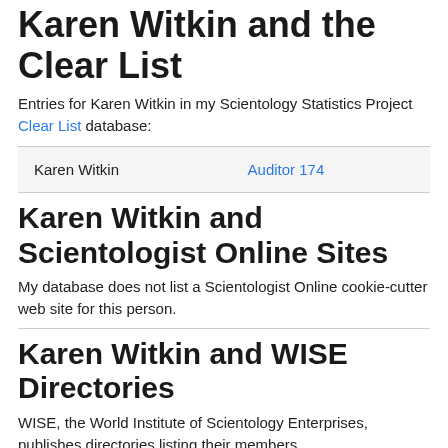Karen Witkin and the Clear List
Entries for Karen Witkin in my Scientology Statistics Project Clear List database:
| Karen Witkin | Auditor 174 |
Karen Witkin and Scientologist Online Sites
My database does not list a Scientologist Online cookie-cutter web site for this person.
Karen Witkin and WISE Directories
WISE, the World Institute of Scientology Enterprises, publishes directories listing their members.
My database does not list this person in the WISE directories